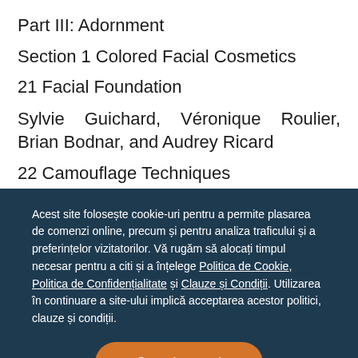Part III: Adornment
Section 1 Colored Facial Cosmetics
21 Facial Foundation
Sylvie Guichard, Véronique Roulier, Brian Bodnar, and Audrey Ricard
22 Camouflage Techniques
Acest site folosește cookie-uri pentru a permite plasarea de comenzi online, precum și pentru analiza traficului și a preferințelor vizitatorilor. Vă rugăm să alocați timpul necesar pentru a citi și a înțelege Politica de Cookie, Politica de Confidențialitate și Clauze și Condiții. Utilizarea în continuare a site-ului implică acceptarea acestor politici, clauze și condiții.
Sunt de acord